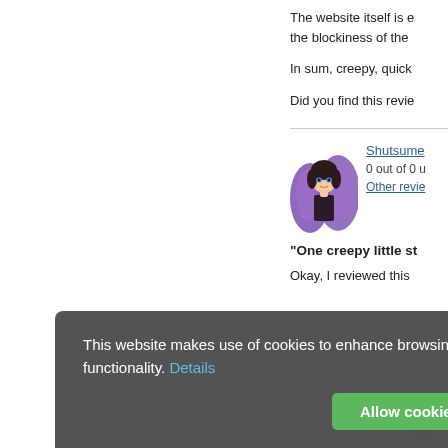The website itself is e... the blockiness of the...
In sum, creepy, quick...
Did you find this revie...
[Figure (illustration): Reviewer avatar: anime-style girl with purple wings]
Shutsume
0 out of 0 u...
Other revie...
"One creepy little st...
Okay, I reviewed this...
This website makes use of cookies to enhance browsing experience and provide additional functionality. Details
Allow cookies